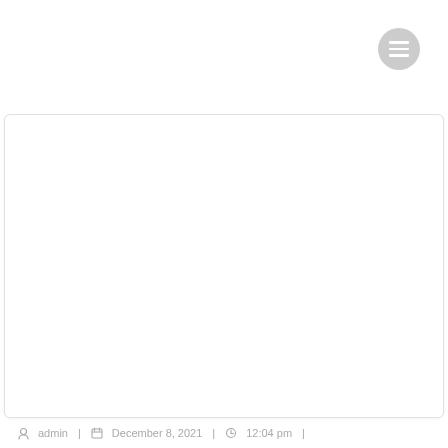[Figure (other): Circular menu/hamburger button with three white horizontal lines on a light gray circle background, positioned top right]
[Figure (other): Large white rectangular card area with rounded corners and light gray border, mostly blank/empty content area]
admin  |  December 8, 2021  |  12:04 pm  |